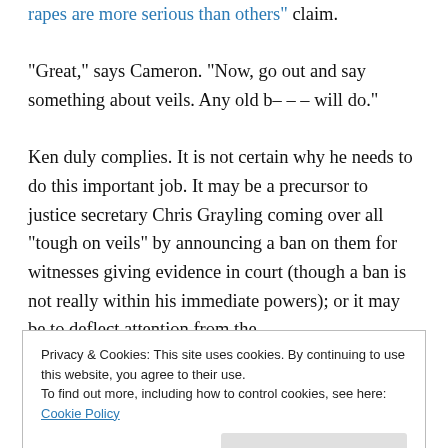rapes are more serious than others" claim.

“Great,” says Cameron. “Now, go out and say something about veils. Any old b––– will do.”

Ken duly complies. It is not certain why he needs to do this important job. It may be a precursor to justice secretary Chris Grayling coming over all “tough on veils” by announcing a ban on them for witnesses giving evidence in court (though a ban is not really within his immediate powers); or it may be to deflect attention from the
Privacy & Cookies: This site uses cookies. By continuing to use this website, you agree to their use.
To find out more, including how to control cookies, see here: Cookie Policy
Whatever it is, Ken rises to the challenge. How did he